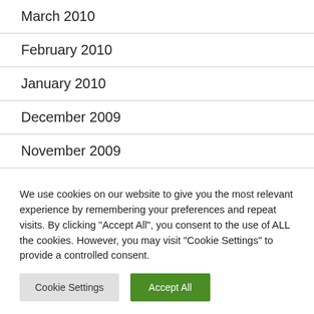March 2010
February 2010
January 2010
December 2009
November 2009
October 2009
September 2009
We use cookies on our website to give you the most relevant experience by remembering your preferences and repeat visits. By clicking "Accept All", you consent to the use of ALL the cookies. However, you may visit "Cookie Settings" to provide a controlled consent.
Cookie Settings | Accept All